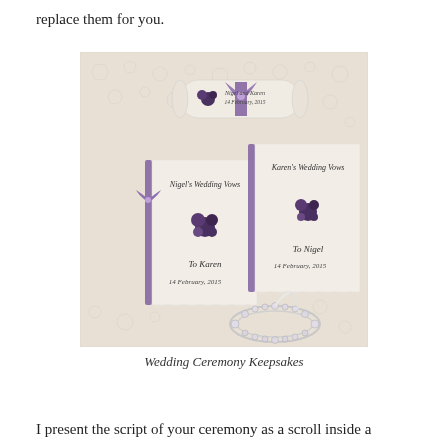replace them for you.
[Figure (photo): Wedding ceremony keepsakes including a rolled scroll tied with purple ribbon, two flat vow booklets with purple ribbon trim and purple flower decorations addressed 'Nigel's Wedding Vows To Karen' and 'Karen's Wedding Vows To Nigel', dated 14 February 2015, and a crystal/pearl hair accessory, all on a lace tablecloth background.]
Wedding Ceremony Keepsakes
I present the script of your ceremony as a scroll inside a